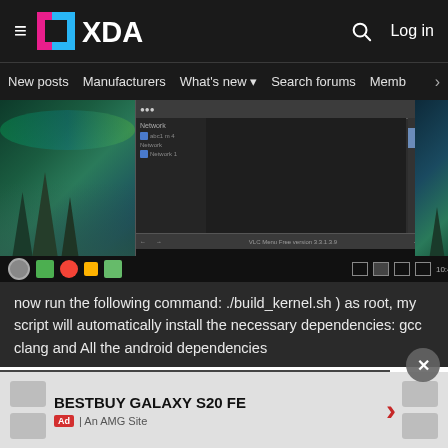XDA Developers — header with hamburger menu, logo, search, Log in
New posts | Manufacturers | What's new ▾ | Search forums | Members >
[Figure (screenshot): Screenshot of a Linux desktop environment with snowy northern lights background, showing a file manager/network window on a dark-themed desktop]
now run the following command: ./build_kernel.sh ) as root, my script will automatically install the necessary dependencies: gcc clang and All the android dependencies
[Figure (screenshot): Screenshot of a terminal/build environment window showing kernel build process]
[Figure (infographic): Advertisement banner: BESTBUY GALAXY S20 FE — An AMG Site]